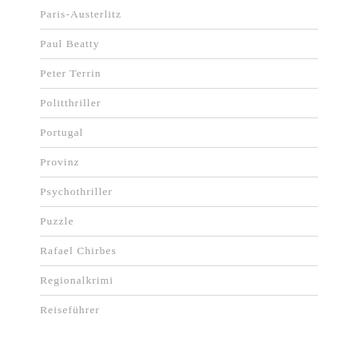Paris-Austerlitz
Paul Beatty
Peter Terrin
Politthriller
Portugal
Provinz
Psychothriller
Puzzle
Rafael Chirbes
Regionalkrimi
Reiseführer